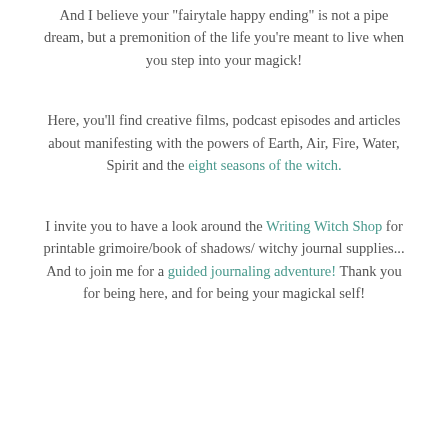And I believe your "fairytale happy ending" is not a pipe dream, but a premonition of the life you're meant to live when you step into your magick!
Here, you'll find creative films, podcast episodes and articles about manifesting with the powers of Earth, Air, Fire, Water, Spirit and the eight seasons of the witch.
I invite you to have a look around the Writing Witch Shop for printable grimoire/book of shadows/ witchy journal supplies... And to join me for a guided journaling adventure! Thank you for being here, and for being your magickal self!